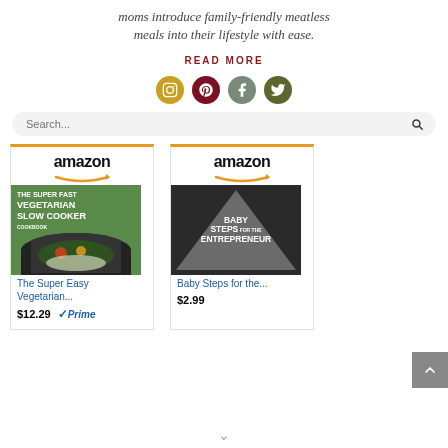moms introduce family-friendly meatless meals into their lifestyle with ease.
READ MORE
[Figure (illustration): Four social media icons in circles: Instagram (gold), Pinterest (dark red), Facebook (grey-green), Twitter (dark green)]
Search...
[Figure (illustration): Amazon product card for 'The Super Easy Vegetarian...' priced at $12.29 with Prime badge]
[Figure (illustration): Amazon product card for 'Baby Steps for the...' priced at $2.99]